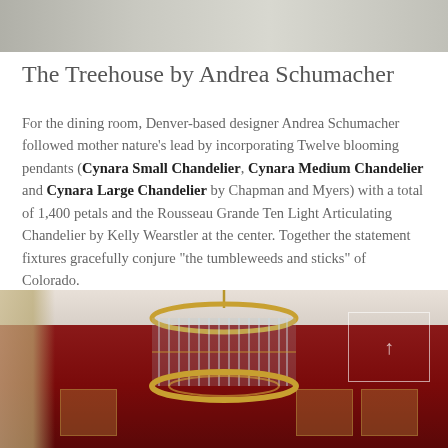[Figure (photo): Top portion of an interior photo showing a light-colored room with furniture]
The Treehouse by Andrea Schumacher
For the dining room, Denver-based designer Andrea Schumacher followed mother nature's lead by incorporating Twelve blooming pendants (Cynara Small Chandelier, Cynara Medium Chandelier and Cynara Large Chandelier by Chapman and Myers) with a total of 1,400 petals and the Rousseau Grande Ten Light Articulating Chandelier by Kelly Wearstler at the center. Together the statement fixtures gracefully conjure “the tumbleweeds and sticks” of Colorado.
[Figure (photo): Interior photo showing a large circular gold and glass chandelier hanging in a room with deep red walls and paneling, with curtains on the left and wall panels]